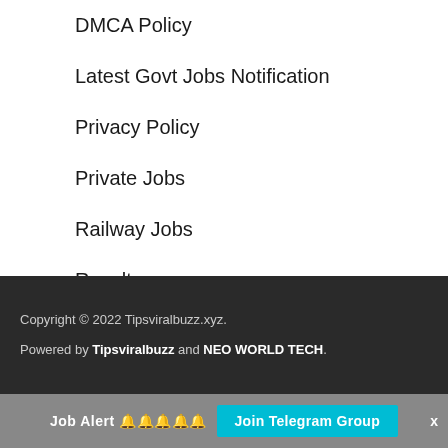DMCA Policy
Latest Govt Jobs Notification
Privacy Policy
Private Jobs
Railway Jobs
Results
Copyright © 2022 Tipsviralbuzz.xyz.
Powered by Tipsviralbuzz and NEO WORLD TECH.
Job Alert 🔔🔔🔔🔔🔔  Join Telegram Group